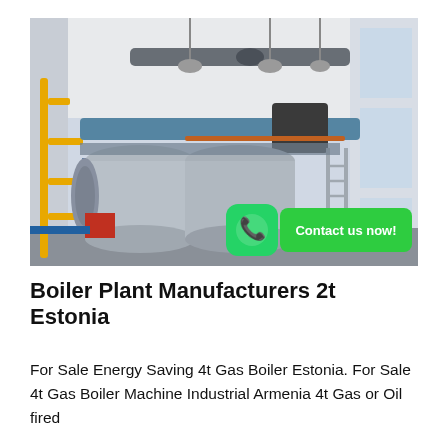[Figure (photo): Industrial boiler plant room with large cylindrical boiler tanks, yellow pipework on the left, metal ductwork above, and large windows. A WhatsApp icon and 'Contact us now!' button overlay appear in the bottom-right corner of the image.]
Boiler Plant Manufacturers 2t Estonia
For Sale Energy Saving 4t Gas Boiler Estonia. For Sale 4t Gas Boiler Machine Industrial Armenia 4t Gas or Oil fired